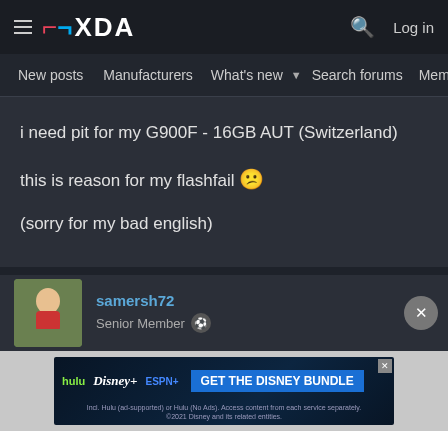XDA Forums navigation bar with logo, search and login
New posts  Manufacturers  What's new  Search forums  Members
i need pit for my G900F - 16GB AUT (Switzerland)
this is reason for my flashfail 😕
(sorry for my bad english)
samersh72
Senior Member
[Figure (screenshot): Disney Bundle advertisement banner with Hulu, Disney+, ESPN+ logos and GET THE DISNEY BUNDLE call to action]